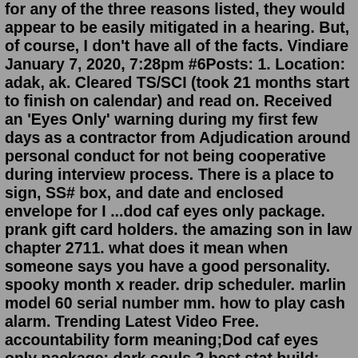for any of the three reasons listed, they would appear to be easily mitigated in a hearing. But, of course, I don't have all of the facts. Vindiare January 7, 2020, 7:28pm #6Posts: 1. Location: adak, ak. Cleared TS/SCI (took 21 months start to finish on calendar) and read on. Received an 'Eyes Only' warning during my first few days as a contractor from Adjudication around personal conduct for not being cooperative during interview process. There is a place to sign, SS# box, and date and enclosed envelope for I ...dod caf eyes only package. prank gift card holders. the amazing son in law chapter 2711. what does it mean when someone says you have a good personality. spooky month x reader. drip scheduler. marlin model 60 serial number mm. how to play cash alarm. Trending Latest Video Free. accountability form meaning;Dod caf eyes only package; dark souls 2 best stat build; artificial cemetery flowers near me; xylitol safe for pregnancy; glendale barber shop; how to hide myself from mom; open tee bioscope movie download 720p; 1953 chevy coe truck for sale. dark in love